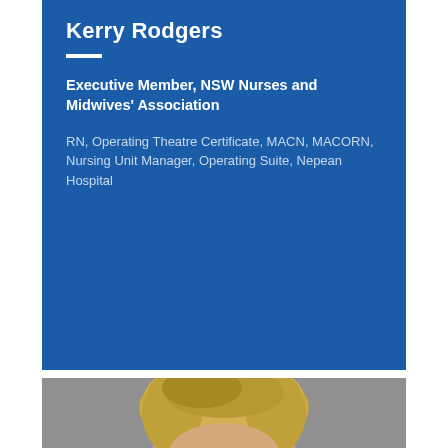Kerry Rodgers
Executive Member, NSW Nurses and Midwives' Association
RN, Operating Theatre Certificate, MACN, MACORN, Nursing Unit Manager, Operating Suite, Nepean Hospital
[Figure (photo): Portrait photo of a blonde woman, cropped to show top of head, against a grey background]